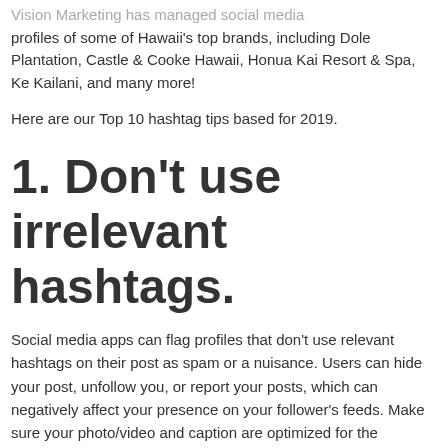Vision Marketing has managed social media profiles of some of Hawaii's top brands, including Dole Plantation, Castle & Cooke Hawaii, Honua Kai Resort & Spa, Ke Kailani, and many more!
Here are our Top 10 hashtag tips based for 2019.
1. Don't use irrelevant hashtags.
Social media apps can flag profiles that don't use relevant hashtags on their post as spam or a nuisance. Users can hide your post, unfollow you, or report your posts, which can negatively affect your presence on your follower's feeds. Make sure your photo/video and caption are optimized for the hashtags your brand plans on using for